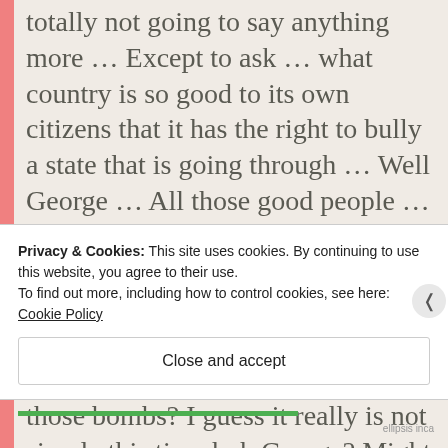totally not going to say anything more … Except to ask … what country is so good to its own citizens that it has the right to bully a state that is going through … Well George … All those good people … There really needs to be some transparency … Like exactly who will benefit … What it comes down to … in my humble opinion … is who is going to make money off those bombs? I guess it really is not simple this time huh George? Might this be another example of a final solution?
Privacy & Cookies: This site uses cookies. By continuing to use this website, you agree to their use.
To find out more, including how to control cookies, see here: Cookie Policy
Close and accept